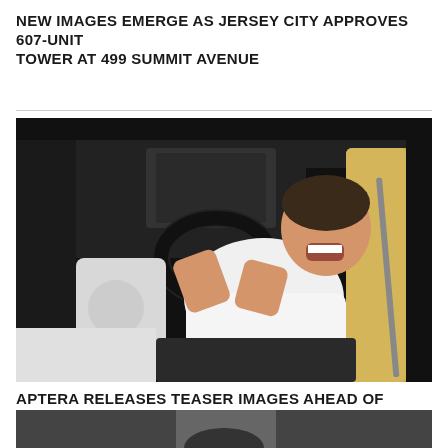NEW IMAGES EMERGE AS JERSEY CITY APPROVES 607-UNIT TOWER AT 499 SUMMIT AVENUE
[Figure (photo): Man sitting in the driver seat of a futuristic electric vehicle, laughing, wearing a white t-shirt, with white and gold interior visible]
APTERA RELEASES TEASER IMAGES AHEAD OF INTERIOR REVEAL
[Figure (photo): Partial view of another vehicle image, dark toned, cut off at bottom of page]